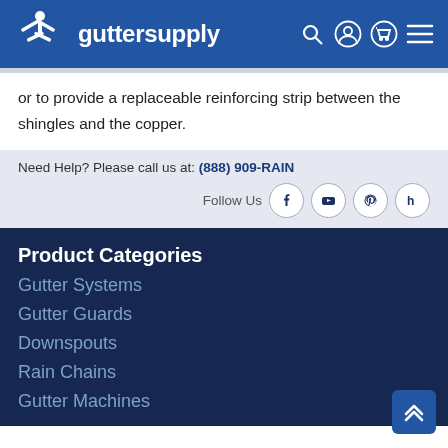guttersupply
or to provide a replaceable reinforcing strip between the shingles and the copper.
Need Help? Please call us at: (888) 909-RAIN
Follow Us
Product Categories
Gutter Systems
Gutter Guards
Downspouts
Rain Chains
Gutter Machines